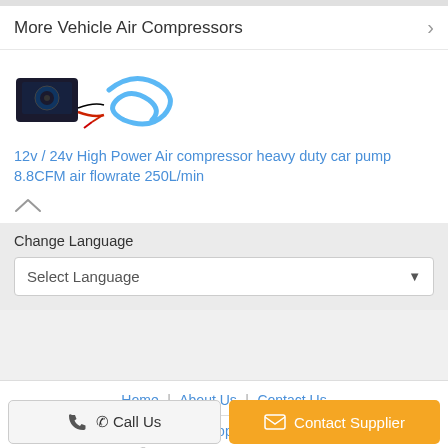More Vehicle Air Compressors
[Figure (photo): Product image showing a 12v/24v high power air compressor with blue hose]
12v / 24v High Power Air compressor heavy duty car pump 8.8CFM air flowrate 250L/min
Change Language
Select Language
Home | About Us | Contact Us
Desktop View
Copyright © 2016 - 2022 airsuspensionpumps.com. All rights reserved.
Call Us
Contact Supplier